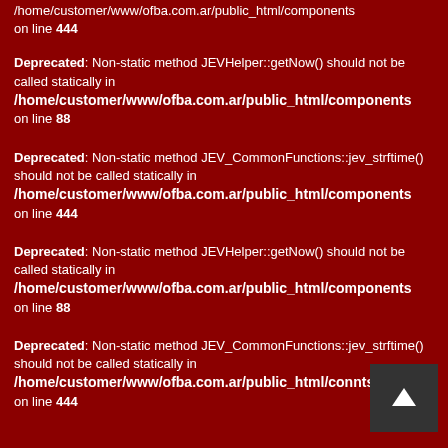/home/customer/www/ofba.com.ar/public_html/components on line 444
Deprecated: Non-static method JEVHelper::getNow() should not be called statically in /home/customer/www/ofba.com.ar/public_html/components on line 88
Deprecated: Non-static method JEV_CommonFunctions::jev_strftime() should not be called statically in /home/customer/www/ofba.com.ar/public_html/components on line 444
Deprecated: Non-static method JEVHelper::getNow() should not be called statically in /home/customer/www/ofba.com.ar/public_html/components on line 88
Deprecated: Non-static method JEV_CommonFunctions::jev_strftime() should not be called statically in /home/customer/www/ofba.com.ar/public_html/con nts on line 444